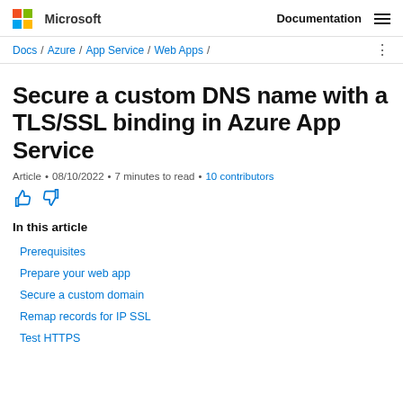Microsoft | Documentation
Docs / Azure / App Service / Web Apps /
Secure a custom DNS name with a TLS/SSL binding in Azure App Service
Article • 08/10/2022 • 7 minutes to read • 10 contributors
In this article
Prerequisites
Prepare your web app
Secure a custom domain
Remap records for IP SSL
Test HTTPS